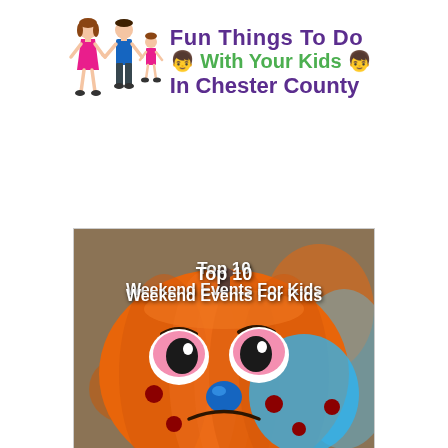[Figure (illustration): Stick figure illustrations of a girl in pink dress and boy in blue shirt holding hands, plus a smaller child figure to the right]
Fun Things To Do With Your Kids In Chester County
[Figure (photo): Photo of an orange pumpkin painted with a cute cartoon dog face (large googly eyes with pink and white highlights, blue nose, red polka dots), with other pumpkins visible in the background. Text overlay reads 'Top 10 Weekend Events For Kids'.]